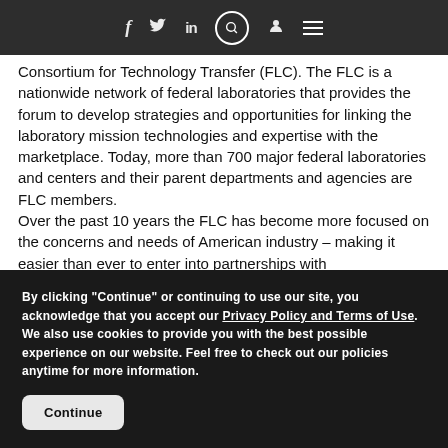Navigation bar with social icons: f (Facebook), bird (Twitter), in (LinkedIn), search icon, user icon, hamburger menu
Consortium for Technology Transfer (FLC). The FLC is a nationwide network of federal laboratories that provides the forum to develop strategies and opportunities for linking the laboratory mission technologies and expertise with the marketplace. Today, more than 700 major federal laboratories and centers and their parent departments and agencies are FLC members.
Over the past 10 years the FLC has become more focused on the concerns and needs of American industry – making it easier than ever to enter into partnerships with
By clicking "Continue" or continuing to use our site, you acknowledge that you accept our Privacy Policy and Terms of Use. We also use cookies to provide you with the best possible experience on our website. Feel free to check out our policies anytime for more information.